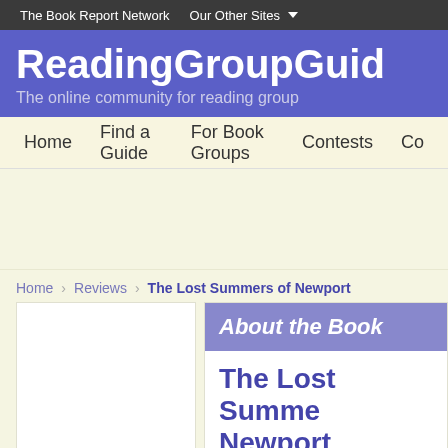The Book Report Network   Our Other Sites ▼
ReadingGroupGuid
The online community for reading group
Home   Find a Guide   For Book Groups   Contests   Co
Home   Reviews   The Lost Summers of Newport
About the Book
The Lost Summe Newport